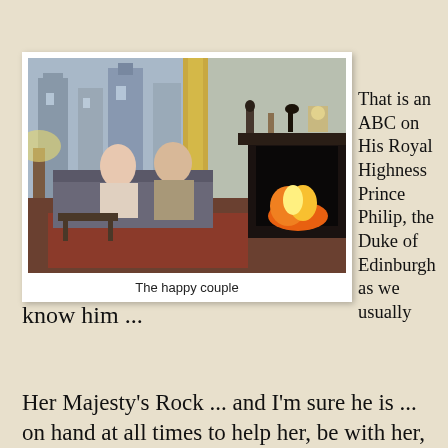[Figure (photo): An elderly couple (Queen Elizabeth II and Prince Philip) sitting together on a floral sofa in an ornate room with a lit fireplace and large windows showing a castle courtyard behind.]
The happy couple
That is an ABC on His Royal Highness Prince Philip, the Duke of Edinburgh as we usually know him ...
Her Majesty's Rock ... and I'm sure he is ... on hand at all times to help her, be with her, and